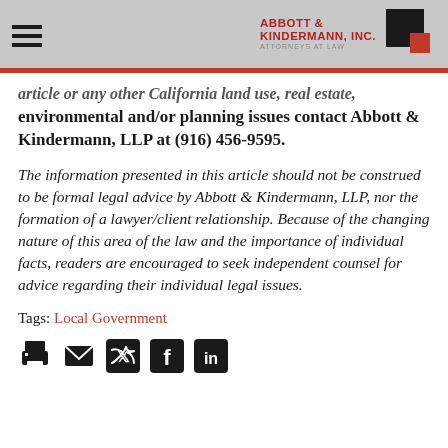Abbott & Kindermann, Inc. Attorneys at Law
article or any other California land use, real estate, environmental and/or planning issues contact Abbott & Kindermann, LLP at (916) 456-9595.
The information presented in this article should not be construed to be formal legal advice by Abbott & Kindermann, LLP, nor the formation of a lawyer/client relationship. Because of the changing nature of this area of the law and the importance of individual facts, readers are encouraged to seek independent counsel for advice regarding their individual legal issues.
Tags: Local Government
[Figure (other): Social sharing icons: print, email, Twitter, Facebook, LinkedIn]